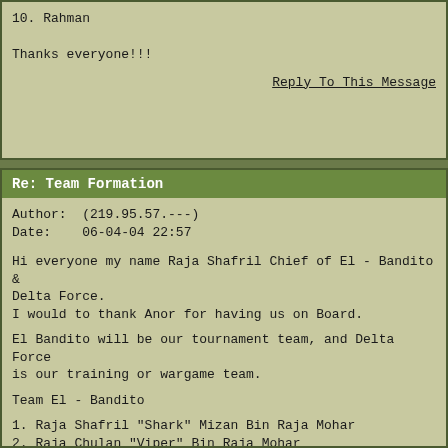10. Rahman

Thanks everyone!!!
Reply To This Message
Re: Team Formation
Author:  (219.95.57.---)
Date:    06-04-04 22:57
Hi everyone my name Raja Shafril Chief of El - Bandito & Delta Force.
I would to thank Anor for having us on Board.

El Bandito will be our tournament team, and Delta Force is our training or wargame team.

Team El - Bandito
1. Raja Shafril "Shark" Mizan Bin Raja Mohar
2. Raja Chulan "Viper" Bin Raja Mohar
3. Raja Sharin " Achilles" Abdullah Bin Raja Mohar
4. Raja Moharis "Momo" Bin Raja Mohar
5. Wan Nazri " Solo"